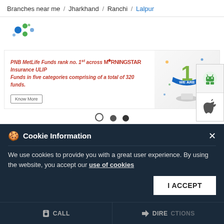Branches near me / Jharkhand / Ranchi / Lalpur
[Figure (logo): PNB MetLife logo - colorful dot pattern with text]
[Figure (infographic): PNB MetLife Funds rank no. 1 across MORNINGSTAR Insurance ULIP Funds in five categories comprising of a total of 320 funds. Banner with number 1 trophy and Know More button. Carousel dots below.]
[Figure (other): Android and Apple app store icons on right panel]
PNB MetLife India Insurance Company Limited
Ranchi
Unit No 205, 2nd Floor, Burdwan Compound, Sunrise Forum
Cookie Information
We use cookies to provide you with a great user experience. By using the website, you accept our use of cookies
I ACCEPT
CALL   DIRECTIONS